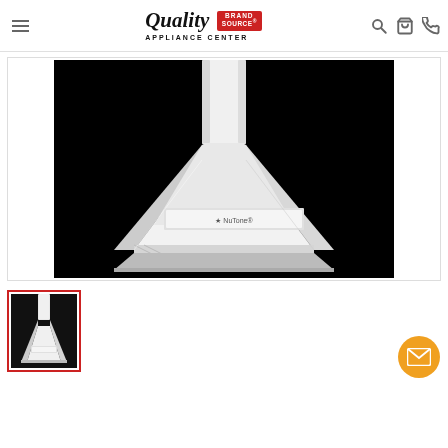Quality Appliance Center Brand Source
[Figure (photo): White kitchen range hood with chimney-style design shown against a black background. The hood is pyramidal in shape with a cylindrical chimney flue extending upward. It appears to be a wall-mount canopy hood in white/stainless finish with a brand label visible on the front panel.]
[Figure (photo): Thumbnail image of the same white range hood product, showing a smaller view of the chimney-style range hood against a black background.]